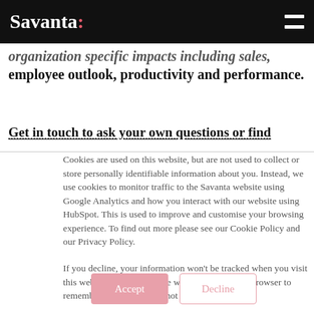Savanta:
organization specific impacts including sales, employee outlook, productivity and performance.
Get in touch to ask your own questions or find
Cookies are used on this website, but are not used to collect or store personally identifiable information about you. Instead, we use cookies to monitor traffic to the Savanta website using Google Analytics and how you interact with our website using HubSpot. This is used to improve and customise your browsing experience. To find out more please see our Cookie Policy and our Privacy Policy.
If you decline, your information won't be tracked when you visit this website. A single cookie will be used in your browser to remember your preference not to be tracked.